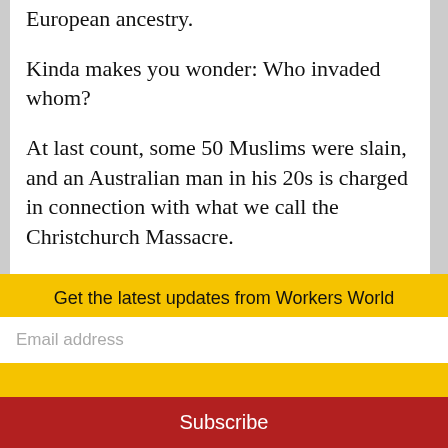European ancestry.
Kinda makes you wonder: Who invaded whom?
At last count, some 50 Muslims were slain, and an Australian man in his 20s is charged in connection with what we call the Christchurch Massacre.
← Previous article   Next article →
Get the latest updates from Workers World
Email address
Subscribe